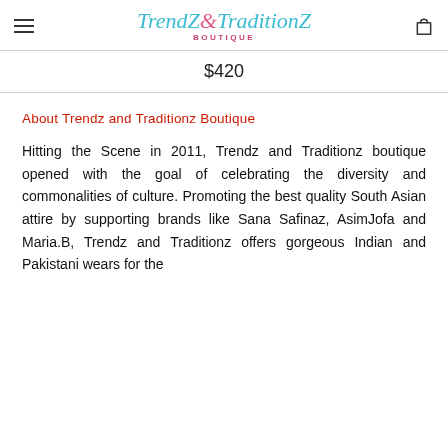TrendZ&TraditionZ BOUTIQUE
$420
About Trendz and Traditionz Boutique
Hitting the Scene in 2011, Trendz and Traditionz boutique opened with the goal of celebrating the diversity and commonalities of culture. Promoting the best quality South Asian attire by supporting brands like Sana Safinaz, AsimJofa and Maria.B, Trendz and Traditionz offers gorgeous Indian and Pakistani wears for the